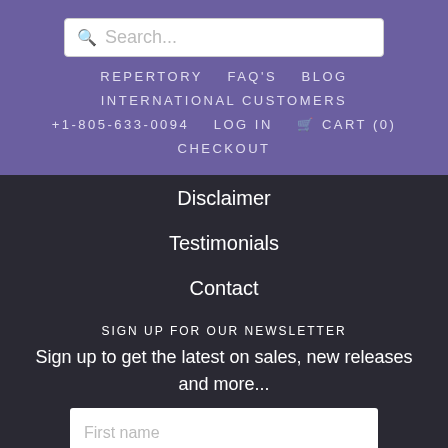Search...
REPERTORY  FAQ'S  BLOG
INTERNATIONAL CUSTOMERS
+1-805-633-0094  LOG IN  CART (0)
CHECKOUT
Disclaimer
Testimonials
Contact
SIGN UP FOR OUR NEWSLETTER
Sign up to get the latest on sales, new releases and more...
First name
Last name